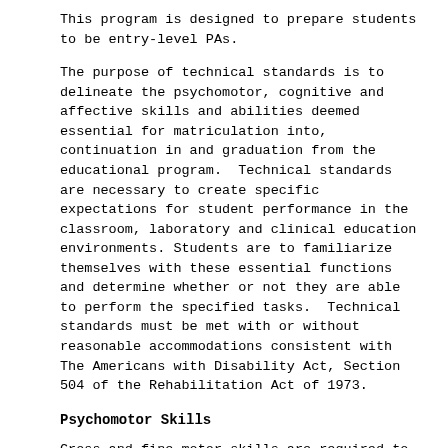This program is designed to prepare students to be entry-level PAs.
The purpose of technical standards is to delineate the psychomotor, cognitive and affective skills and abilities deemed essential for matriculation into, continuation in and graduation from the educational program. Technical standards are necessary to create specific expectations for student performance in the classroom, laboratory and clinical education environments. Students are to familiarize themselves with these essential functions and determine whether or not they are able to perform the specified tasks. Technical standards must be met with or without reasonable accommodations consistent with The Americans with Disability Act, Section 504 of the Rehabilitation Act of 1973.
Psychomotor Skills
Gross and fine motor skills are required to meet the responsibilities of a physician assistant student in a wide variety of educational and clinical settings. A student must be able to perform motor movements required to provide general and emergency care to all patients. These demands include reasonable endurance, strength, equilibrium, and precision. A